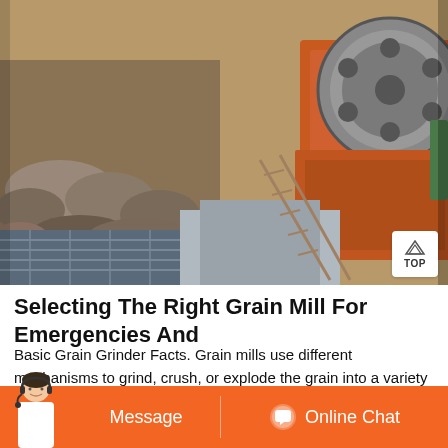[Figure (photo): Industrial jaw crusher machine with large flywheel/pulley visible in orange color, surrounded by rocks/aggregate material, with metal staircase structure, at a mining or quarrying site]
Selecting The Right Grain Mill For Emergencies And
Basic Grain Grinder Facts. Grain mills use different mechanisms to grind, crush, or explode the grain into a variety of textured flours. Generally, you have burr mills which crush the grain between the plates stone or metal or impact mills that produce fine or very fine flours where the grain is burst